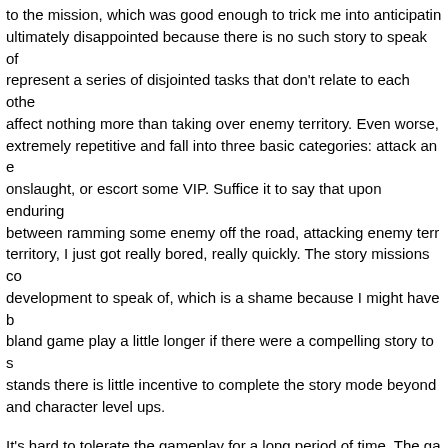to the mission, which was good enough to trick me into anticipating ultimately disappointed because there is no such story to speak of represent a series of disjointed tasks that don't relate to each other affect nothing more than taking over enemy territory. Even worse, extremely repetitive and fall into three basic categories: attack an e onslaught, or escort some VIP. Suffice it to say that upon enduring between ramming some enemy off the road, attacking enemy terr territory, I just got really bored, really quickly. The story missions co development to speak of, which is a shame because I might have b bland game play a little longer if there were a compelling story to s stands there is little incentive to complete the story mode beyond and character level ups.
It's hard to tolerate the gameplay for a long period of time. The ga on foot. The analog stick vagueness makes it next to impossible to shoot enemies manually. Luckily the game offers a supposedly eas form of a lock on feature. The problem here is that it doesn't targe enemies in your line of sight, which are generally the closer ones. Y button trying to line up buddy with the AK right in front of you, hit t find that the enemy behind him with a bat takes priority. Needless t exercise in frustration and require a measure of luck to come out m